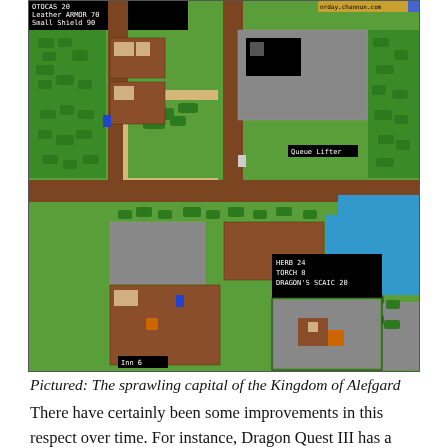[Figure (screenshot): A top-down RPG game screenshot showing a sprawling town map from Dragon Quest/Dragon Warrior. The map features green grass tiles, brown building/wall tiles, grey stone floor tiles, blue water tiles, and sandy/tan path areas. Multiple characters (blue sprites) are visible. There are two UI overlay windows: one in the top-left showing 'Leather Armor 70, Small Shield 90' and character stats; another in the bottom-right area showing 'HERB 24, TORCH 8, DRAGON'S SCALE 20'. A tooltip reads 'Queue Lifter'. At the bottom-left a small label reads 'Inn 6'. Top-right shows a partial website URL. A second smaller game window is visible in the bottom-right corner.]
Pictured: The sprawling capital of the Kingdom of Alefgard
There have certainly been some improvements in this respect over time. For instance, Dragon Quest III has a day-night cycle and townspeople are often in different places at different times of day. Shops will close and their